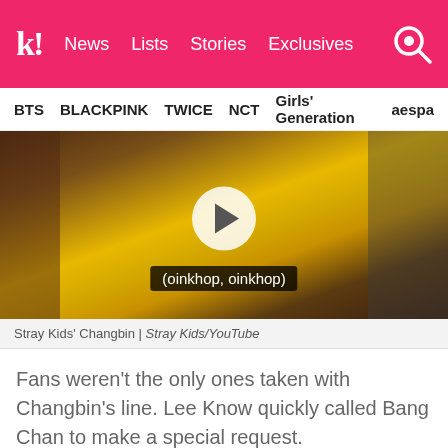K! News | Lists | Stories | Exclusives
BTS | BLACKPINK | TWICE | NCT | Girls' Generation | aespa
[Figure (screenshot): Video thumbnail showing Stray Kids' Changbin in a yellow hoodie with subtitle text '(oinkhop, oinkhop)' and a play button overlay]
Stray Kids' Changbin | Stray Kids/YouTube
Fans weren't the only ones taken with Changbin's line. Lee Know quickly called Bang Chan to make a special request.
[Figure (screenshot): Video thumbnail from VLIVE showing a dark figure, with VLIVE badge in top right corner]